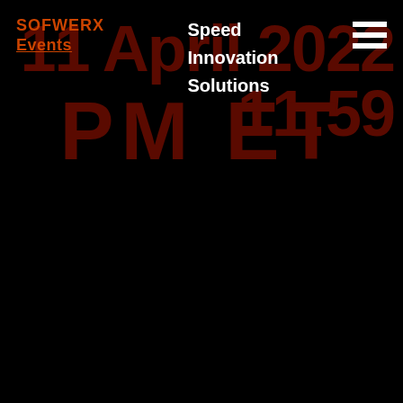[Figure (screenshot): SOFWERX website navigation overlay on dark background with large red date/time text '11 April 2022 11:59 PM ET' in the background and white navigation menu items 'Speed', 'Innovation', 'Solutions' visible, along with orange 'SOFWERX' logo and 'Events' link, and a white hamburger menu icon in the top right.]
SOFWERX Events
Speed
Innovation
Solutions